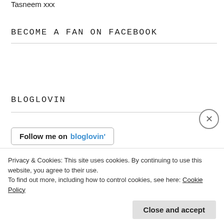Tasneem xxx
BECOME A FAN ON FACEBOOK
BLOGLOVIN
[Figure (other): Follow me on bloglovin button]
FOLLOW ME ON TWITETR
Privacy & Cookies: This site uses cookies. By continuing to use this website, you agree to their use.
To find out more, including how to control cookies, see here: Cookie Policy
Close and accept